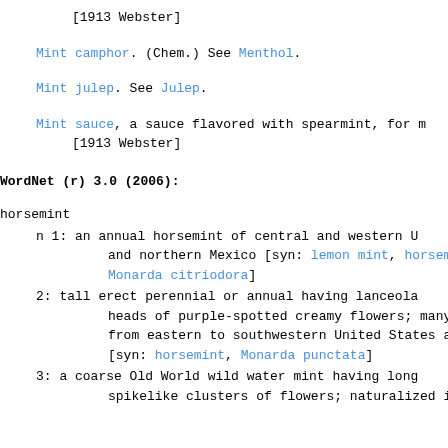[1913 Webster]
Mint camphor. (Chem.) See Menthol.
Mint julep. See Julep.
Mint sauce, a sauce flavored with spearmint, for m
    [1913 Webster]
WordNet (r) 3.0 (2006):
horsemint
n 1: an annual horsemint of central and western U and northern Mexico [syn: lemon mint, horsem Monarda citriodora]
2: tall erect perennial or annual having lanceola heads of purple-spotted creamy flowers; many s from eastern to southwestern United States and [syn: horsemint, Monarda punctata]
3: a coarse Old World wild water mint having long spikelike clusters of flowers; naturalized in